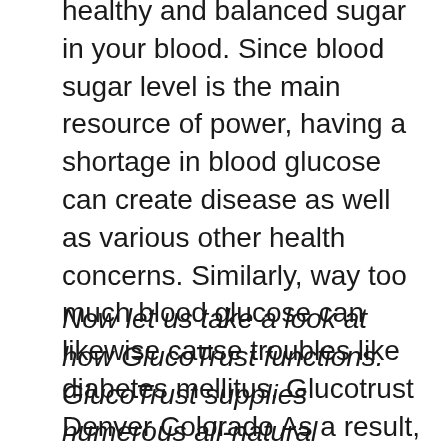healthy and balanced sugar in your blood. Since blood sugar level is the main resource of power, having a shortage in blood glucose can create disease as well as various other health concerns. Similarly, way too much blood glucose can likewise cause troubles like diabetes mellitus. Glucotrust Denver Colorado As a result, we need to figure out the balance in our blood glucose degree so that we can work our day-to-day routine without any problems.
Now let us take a look at how GlucoTrust functions. GlucoTrust supplies numerous all-natural substances as its components. These components are Gymnema, biotin, manganese, chromium, cinnamon oil, zinc, and also glycyrrhizic acid. These ingredients can aid you preserve your